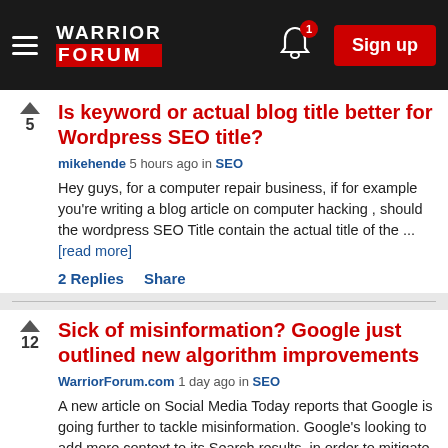Warrior Forum — Sign up
Is keyword or actual blog title better for Wordpress SEO title?
mikehende 5 hours ago in SEO
Hey guys, for a computer repair business, if for example you're writing a blog article on computer hacking , should the wordpress SEO Title contain the actual title of the ... [read more]
2 Replies    Share
Sick of misinformation? Google just outlined new algorithm improvements
WarriorForum.com 1 day ago in SEO
A new article on Social Media Today reports that Google is going further to tackle misinformation. Google's looking to add more context to its Search results, in order to mitigate ... [read more]
6 Replies    Share